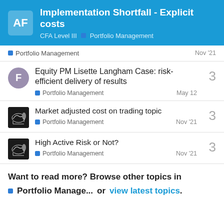Implementation Shortfall - Explicit costs | CFA Level III | Portfolio Management
Portfolio Management — Nov '21
Equity PM Lisette Langham Case: risk-efficient delivery of results — Portfolio Management — May 12 — 3 replies
Market adjusted cost on trading topic — Portfolio Management — Nov '21 — 3 replies
High Active Risk or Not? — Portfolio Management — Nov '21 — 3 replies
Want to read more? Browse other topics in Portfolio Manage... or view latest topics.